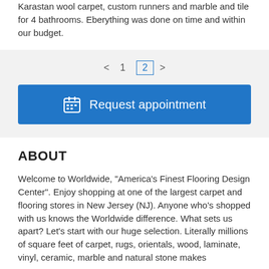We bought 3000 square feet of Brazilian Teak, 1000 sf of Karastan wool carpet, custom runners and marble and tile for 4 bathrooms. Eberything was done on time and within our budget.
< 1 2 >
Request appointment
ABOUT
Welcome to Worldwide, "America's Finest Flooring Design Center". Enjoy shopping at one of the largest carpet and flooring stores in New Jersey (NJ). Anyone who's shopped with us knows the Worldwide difference. What sets us apart? Let's start with our huge selection. Literally millions of square feet of carpet, rugs, orientals, wood, laminate, vinyl, ceramic, marble and natural stone makes